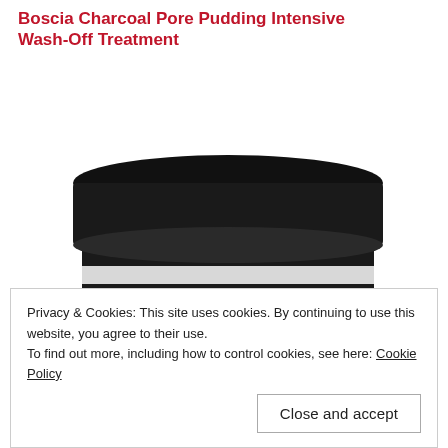Boscia Charcoal Pore Pudding Intensive Wash-Off Treatment
[Figure (photo): Product photo of Boscia Charcoal Pore Pudding Intensive Wash-Off Treatment jar with black lid and black and white striped label, showing text: boscia Charcoal Pore Pudding intensive wash-off treatment, Pouding au Charbon pour les Pores, traitement nettoyant intensif, 85ml/2.8 fl oz U.S.]
Privacy & Cookies: This site uses cookies. By continuing to use this website, you agree to their use.
To find out more, including how to control cookies, see here: Cookie Policy
Close and accept